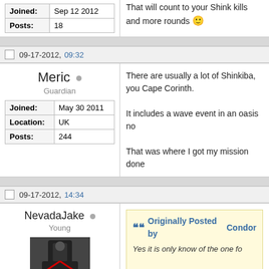| Joined: | Sep 12 2012 |
| --- | --- |
| Posts: | 18 |
That will count to your Shink kills and more rounds 🙂
09-17-2012, 09:32
Meric
Guardian
| Joined: | May 30 2011 |
| --- | --- |
| Location: | UK |
| Posts: | 244 |
There are usually a lot of Shinkiba, you Cape Corinth.

It includes a wave event in an oasis no

That was where I got my mission done
09-17-2012, 14:34
NevadaJake
Young
Originally Posted by Condor
Yes it is only know of the one fo
However if you wanna do it fast dakibia wave event. That will co bring bukakis blade and do the